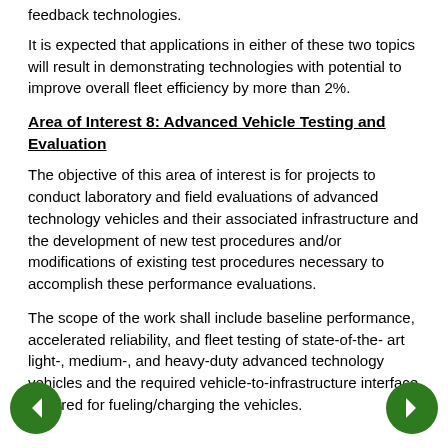feedback technologies.
It is expected that applications in either of these two topics will result in demonstrating technologies with potential to improve overall fleet efficiency by more than 2%.
Area of Interest 8: Advanced Vehicle Testing and Evaluation
The objective of this area of interest is for projects to conduct laboratory and field evaluations of advanced technology vehicles and their associated infrastructure and the development of new test procedures and/or modifications of existing test procedures necessary to accomplish these performance evaluations.
The scope of the work shall include baseline performance, accelerated reliability, and fleet testing of state-of-the- art light-, medium-, and heavy-duty advanced technology vehicles and the required vehicle-to-infrastructure interface required for fueling/charging the vehicles.